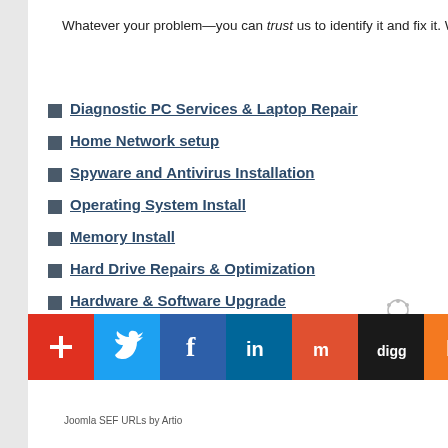Whatever your problem—you can trust us to identify it and fix it. We offer the fol
Diagnostic PC Services & Laptop Repair
Home Network setup
Spyware and Antivirus Installation
Operating System Install
Memory Install
Hard Drive Repairs & Optimization
Hardware & Software Upgrade
Data Backup and Recovery
[Figure (infographic): Social media share bar with icons: add, Twitter, Facebook, LinkedIn, Myspace, Digg, Bebo, Google, Yahoo, Amazon, Paws, Blogger]
Joomla SEF URLs by Artio